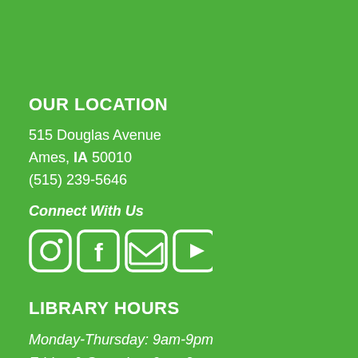OUR LOCATION
515 Douglas Avenue
Ames, IA 50010
(515) 239-5646
Connect With Us
[Figure (illustration): Social media icons: Instagram, Facebook, Email, YouTube]
LIBRARY HOURS
Monday-Thursday: 9am-9pm
Friday & Saturday: 9am-6pm
Sun: 1pm-5pm